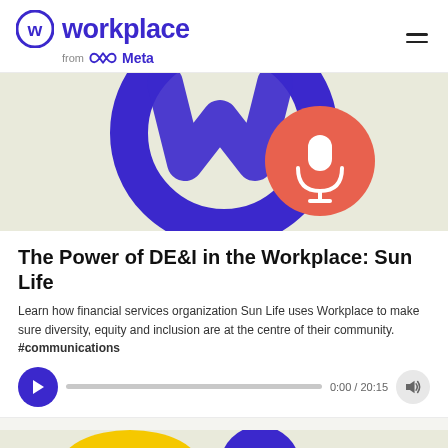workplace from Meta
[Figure (illustration): Podcast artwork showing a large purple circular W logo and a coral/salmon colored circle with a white microphone icon, on a light olive/cream background.]
The Power of DE&I in the Workplace: Sun Life
Learn how financial services organization Sun Life uses Workplace to make sure diversity, equity and inclusion are at the centre of their community. #communications
[Figure (other): Audio player bar with purple play button, gray progress track, time display '0:00 / 20:15', and volume icon button.]
[Figure (illustration): Partial view of another content card below with yellow and blue/purple graphic elements visible at bottom of page.]